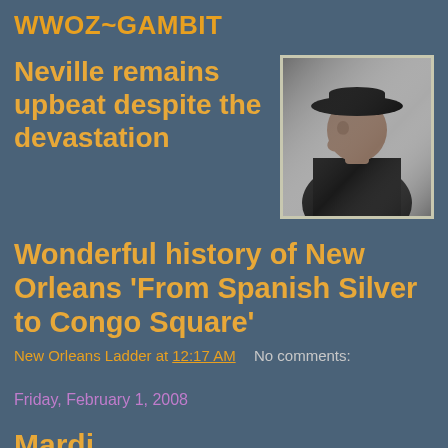WWOZ~GAMBIT
Neville remains upbeat despite the devastation
[Figure (photo): Black and white portrait photo of a person wearing a wide-brimmed hat, hand resting near face, looking to the side]
Wonderful history of New Orleans 'From Spanish Silver to Congo Square'
New Orleans Ladder at 12:17 AM    No comments:
Friday, February 1, 2008
Mardi...